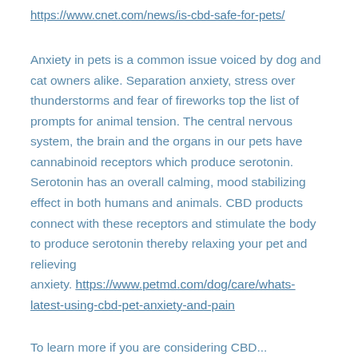https://www.cnet.com/news/is-cbd-safe-for-pets/
Anxiety in pets is a common issue voiced by dog and cat owners alike. Separation anxiety, stress over thunderstorms and fear of fireworks top the list of prompts for animal tension. The central nervous system, the brain and the organs in our pets have cannabinoid receptors which produce serotonin. Serotonin has an overall calming, mood stabilizing effect in both humans and animals. CBD products connect with these receptors and stimulate the body to produce serotonin thereby relaxing your pet and relieving anxiety. https://www.petmd.com/dog/care/whats-latest-using-cbd-pet-anxiety-and-pain
To learn more if you are considering CBD...